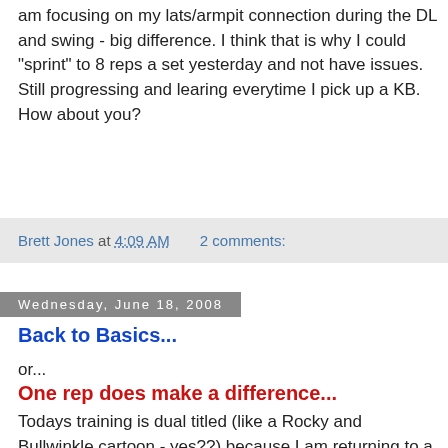am focusing on my lats/armpit connection during the DL and swing - big difference. I think that is why I could "sprint" to 8 reps a set yesterday and not have issues. Still progressing and learing everytime I pick up a KB.
How about you?
Brett Jones at 4:09 AM   2 comments:
Wednesday, June 18, 2008
Back to Basics...
or...
One rep does make a difference...
Todays training is dual titled (like a Rocky and Bullwinkle cartoon - yes??) because I am returning to a PTP style barbell workout and adding one rep per 15 seconds on the VO2 Max protocol does make a difference...